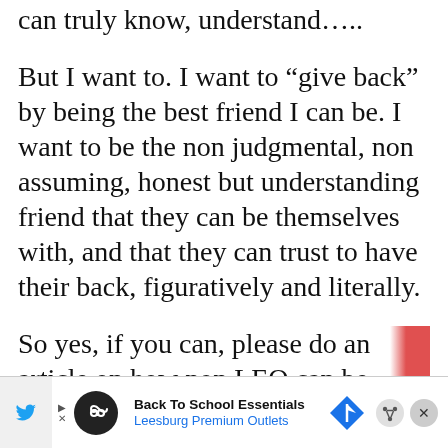can truly know, understand…..
But I want to. I want to “give back” by being the best friend I can be. I want to be the non judgmental, non assuming, honest but understanding friend that they can be themselves with, and that they can trust to have their back, figuratively and literally.
So yes, if you can, please do an article on how non LEO can be better friends to LEO. What we can do to be that friend they can trust enough to feel relaxed with, and just be themselves. What we can avoid so we aren’t “that friend” that THINKS they get it, but ar…
[Figure (other): Advertisement banner for Back To School Essentials at Leesburg Premium Outlets, with Twitter share icon on left, circular logo with infinity symbol, navigation arrow icon on right, and close button]